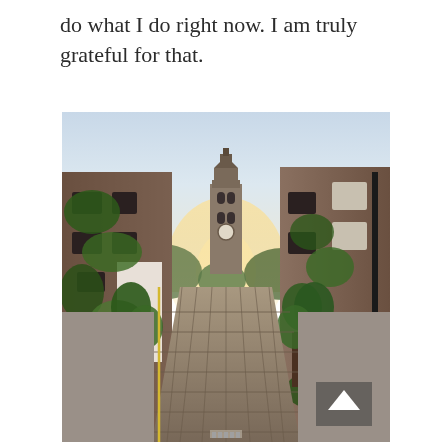do what I do right now. I am truly grateful for that.
[Figure (photo): A cobblestone street lined with ivy-covered stone buildings on both sides, leading toward a church clock tower in the background with warm sunlight. Green trees and plants line the street. A back-to-top arrow button is visible in the lower right of the image.]